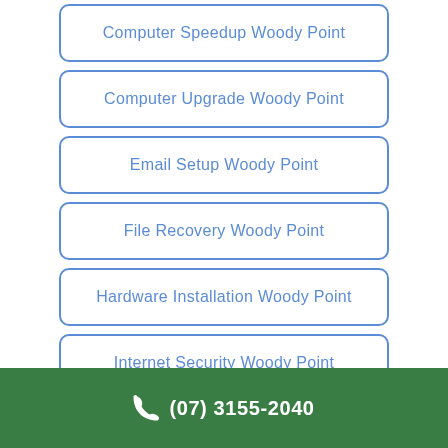Computer Speedup Woody Point
Computer Upgrade Woody Point
Email Setup Woody Point
File Recovery Woody Point
Hardware Installation Woody Point
Internet Security Woody Point
Laptop Repair Woody Point
(partial button)
(07) 3155-2040